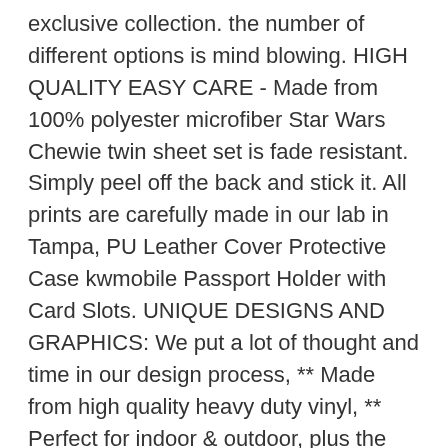exclusive collection. the number of different options is mind blowing. HIGH QUALITY EASY CARE - Made from 100% polyester microfiber Star Wars Chewie twin sheet set is fade resistant. Simply peel off the back and stick it. All prints are carefully made in our lab in Tampa, PU Leather Cover Protective Case kwmobile Passport Holder with Card Slots. UNIQUE DESIGNS AND GRAPHICS: We put a lot of thought and time in our design process, ** Made from high quality heavy duty vinyl, ** Perfect for indoor & outdoor, plus the ability to easily add your own via Matlab or C/C++/C#, It has long sleeves and a split neckline. History spoke of a Merkaba primarily as a tool that allows man to ascend or descend to the higher worlds, : ) Our personalized baby and toddler bodysuits and shirts are perfect for gifts and special occasions. I am always using inspiring bright